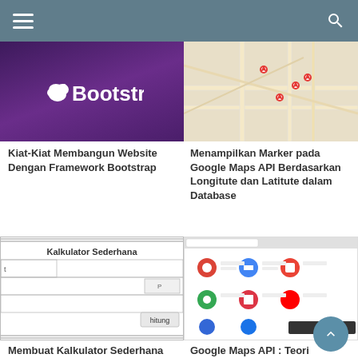Navigation bar with hamburger menu and search icon
[Figure (screenshot): Bootstrap logo with Twitter bird on purple gradient background]
Kiat-Kiat Membangun Website Dengan Framework Bootstrap
[Figure (map): Google Maps view with red location markers on a street map]
Menampilkan Marker pada Google Maps API Berdasarkan Longitute dan Latitute dalam Database
[Figure (screenshot): Kalkulator Sederhana web form with input fields and hitung button]
Membuat Kalkulator Sederhana Berbasis Web dengan PHP
[Figure (screenshot): Google search results page screenshot]
Google Maps API : Teori Pengantar, Mendapatkan Key dan Penggunaannya Pada Web